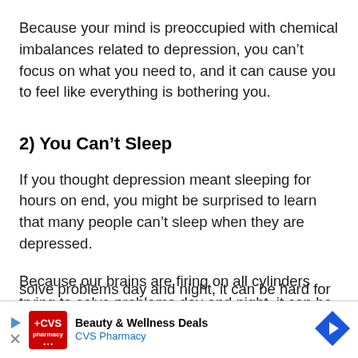Because your mind is preoccupied with chemical imbalances related to depression, you can't focus on what you need to, and it can cause you to feel like everything is bothering you.
2) You Can't Sleep
If you thought depression meant sleeping for hours on end, you might be surprised to learn that many people can't sleep when they are depressed.
Because our brains are firing on all cylinders trying to solve problems day and night, it can be hard for someone...
[Figure (other): CVS Pharmacy advertisement banner: Beauty & Wellness Deals, CVS Pharmacy, with red CVS logo and blue navigation arrow icon]